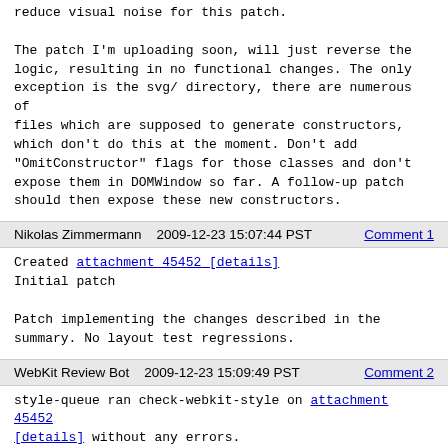reduce visual noise for this patch.

The patch I'm uploading soon, will just reverse the logic, resulting in no functional changes. The only exception is the svg/ directory, there are numerous of files which are supposed to generate constructors, which don't do this at the moment. Don't add "OmitConstructor" flags for those classes and don't expose them in DOMWindow so far. A follow-up patch should then expose these new constructors.
Nikolas Zimmermann    2009-12-23 15:07:44 PST    Comment 1
Created attachment 45452 [details]
Initial patch

Patch implementing the changes described in the summary. No layout test regressions.
WebKit Review Bot    2009-12-23 15:09:49 PST    Comment 2
style-queue ran check-webkit-style on attachment 45452 [details] without any errors.
Eric Seidel (no email)    2009-12-23 15:39:42 PST    Comment 3
OK.  In order to review this I need a list of classes to which you're adding constructors by this patch.  I